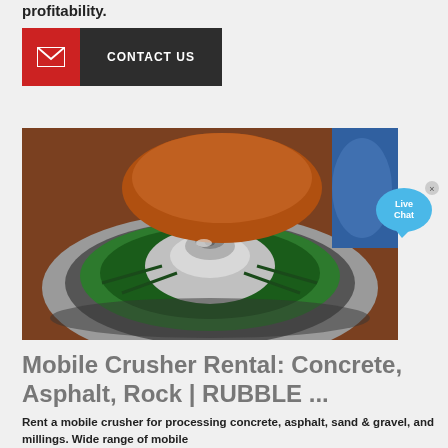profitability.
[Figure (other): Red and dark gray contact us button with envelope icon]
[Figure (photo): Close-up photo of a cone crusher interior showing green mantle, silver main shaft, and orange/rust colored bowl]
[Figure (other): Live Chat speech bubble widget in blue]
Mobile Crusher Rental: Concrete, Asphalt, Rock | RUBBLE ...
Rent a mobile crusher for processing concrete, asphalt, sand & gravel, and millings. Wide range of mobile